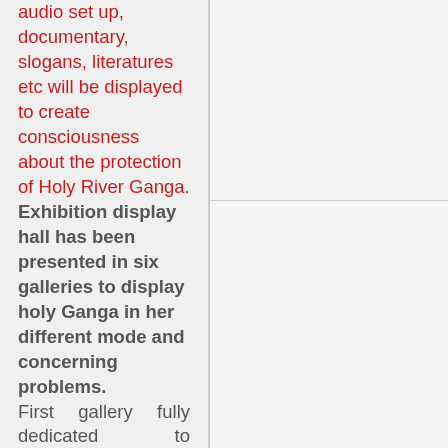audio set up, documentary, slogans, literatures etc will be displayed to create consciousness about the protection of Holy River Ganga.
Exhibition display hall has been presented in six galleries to display holy Ganga in her different mode and concerning problems.
First gallery fully dedicated to religious